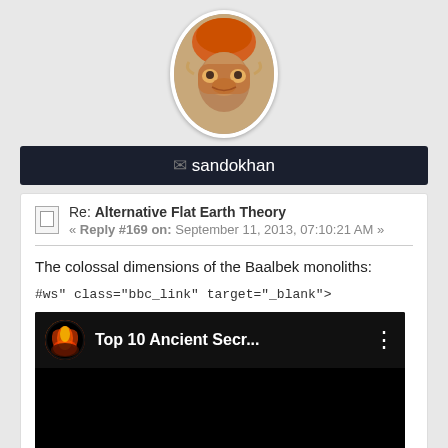[Figure (photo): Profile avatar showing a composite image of a person wearing an orange turban merged with a tiger face, in an oval frame]
✉ sandokhan
Re: Alternative Flat Earth Theory
« Reply #169 on: September 11, 2013, 07:10:21 AM »
The colossal dimensions of the Baalbek monoliths:
#ws" class="bbc_link" target="_blank">
[Figure (screenshot): YouTube video thumbnail showing 'Top 10 Ancient Secr...' with a nuclear explosion icon and three-dot menu button, black background]